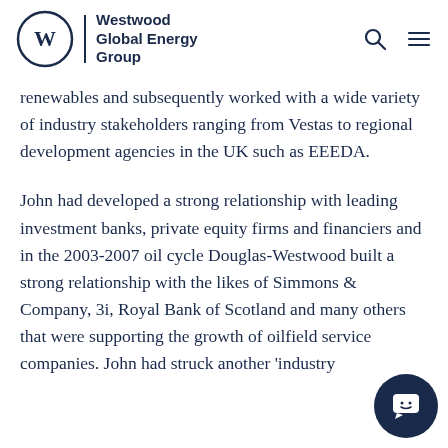Westwood Global Energy Group
renewables and subsequently worked with a wide variety of industry stakeholders ranging from Vestas to regional development agencies in the UK such as EEEDA.
John had developed a strong relationship with leading investment banks, private equity firms and financiers and in the 2003-2007 oil cycle Douglas-Westwood built a strong relationship with the likes of Simmons & Company, 3i, Royal Bank of Scotland and many others that were supporting the growth of oilfield service companies. John had struck another 'industry